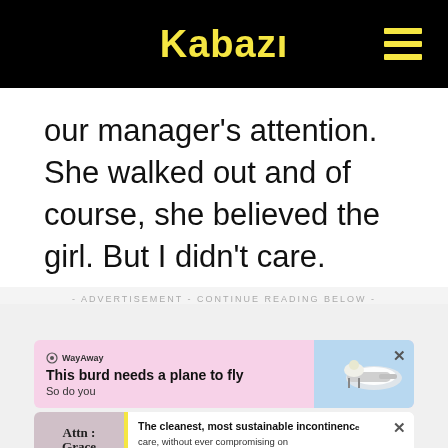Kabazi
our manager's attention. She walked out and of course, she believed the girl. But I didn't care.
- ADVERTISEMENT - CONTINUE READING BELOW -
[Figure (other): WayAway advertisement banner: 'This burd needs a plane to fly / So do you' with illustration of bird on a plane, pink background]
[Figure (other): Attn: Grace advertisement banner: 'The cleanest, most sustainable incontinence care, without ever compromising on performance.']